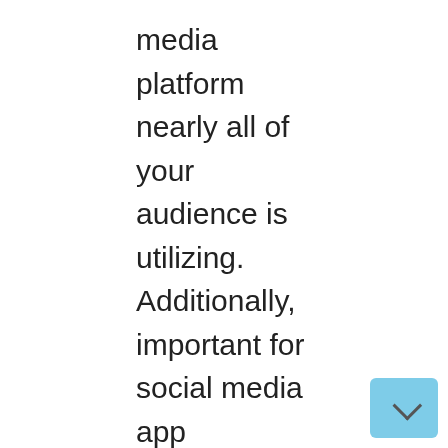media platform nearly all of your audience is utilizing. Additionally, important for social media app advertising and marketing is to know on which social networks your rivals are. There are a lot of methods to determine which community is probably the most beneficial for you. Nevertheless, we propose testing as a lot as potential. Attempt to take a look at completely different content material on completely different platforms and discover your distinctive approach of speaking together with your viewers.
Make a time schedule
Folks on social media platforms get used to the frequency of channel posting. For that motive